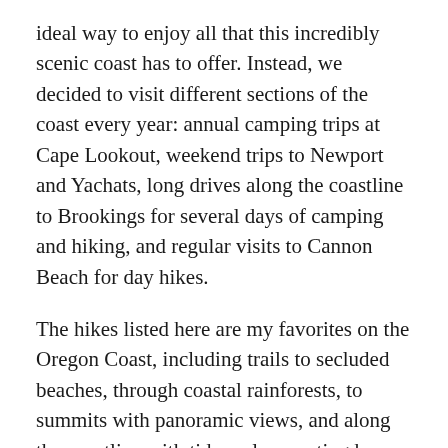ideal way to enjoy all that this incredibly scenic coast has to offer. Instead, we decided to visit different sections of the coast every year: annual camping trips at Cape Lookout, weekend trips to Newport and Yachats, long drives along the coastline to Brookings for several days of camping and hiking, and regular visits to Cannon Beach for day hikes.
The hikes listed here are my favorites on the Oregon Coast, including trails to secluded beaches, through coastal rainforests, to summits with panoramic views, and along the coastline with tidepools, spouting horns, and if you are lucky, views of migrating whales.
All of these hikes are covered in my I Heart Oregon's Seven Wonders hiking book.